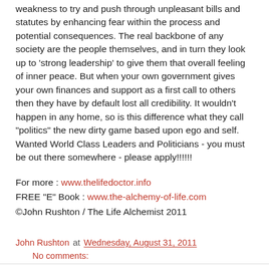weakness to try and push through unpleasant bills and statutes by enhancing fear within the process and potential consequences. The real backbone of any society are the people themselves, and in turn they look up to 'strong leadership' to give them that overall feeling of inner peace. But when your own government gives your own finances and support as a first call to others then they have by default lost all credibility. It wouldn't happen in any home, so is this difference what they call "politics" the new dirty game based upon ego and self. Wanted World Class Leaders and Politicians - you must be out there somewhere - please apply!!!!!!
For more : www.thelifedoctor.info
FREE "E" Book : www.the-alchemy-of-life.com
©John Rushton / The Life Alchemist 2011
John Rushton at Wednesday, August 31, 2011  No comments:
Share